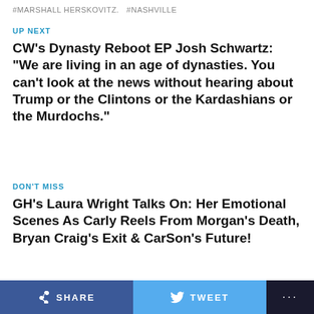#MARSHALL HERSKOVITZ.   #NASHVILLE
UP NEXT
CW's Dynasty Reboot EP Josh Schwartz: "We are living in an age of dynasties. You can't look at the news without hearing about Trump or the Clintons or the Kardashians or the Murdochs."
DON'T MISS
GH's Laura Wright Talks On: Her Emotional Scenes As Carly Reels From Morgan's Death, Bryan Craig's Exit & CarSon's Future!
ADVERTISEMENT
[Figure (infographic): Advertisement banner for Vito Services Plumbing, Heating with logo showing a stylized figure with red and blue colors. Text reads: Locally Owned Since 1934, Vito Services Plumbing, Heating ... with a blue diamond arrow icon on the right.]
SHARE   TWEET   ...